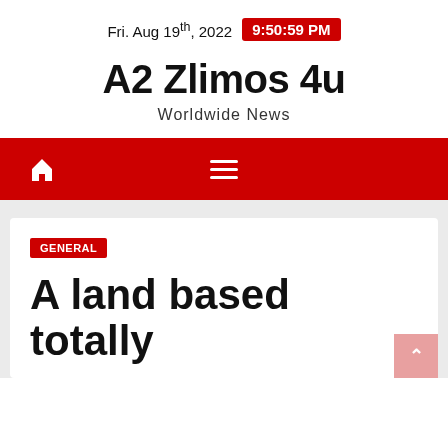Fri. Aug 19th, 2022  9:50:59 PM
A2 Zlimos 4u
Worldwide News
GENERAL
A land based totally